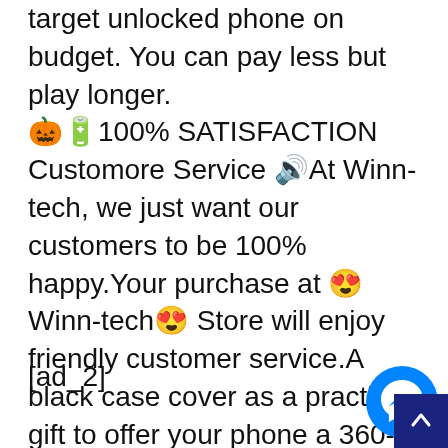target unlocked phone on budget. You can pay less but play longer. 🎃🔋100% SATISFACTION Customore Service 🔊At Winn-tech, we just want our customers to be 100% happy.Your purchase at 😍Winn-tech😍 Store will enjoy friendly customer service.A black case cover as a practical gift to offer your phone a 360-degree protection, if you are looking for a great budget phone vaule for money, Ulefone Note 7 will be definitely your best choice.
[ad_2]
[Figure (other): Facebook Messenger chat button (blue circle with white lightning bolt icon) and a dark blue back-to-top arrow button in the bottom right corner]